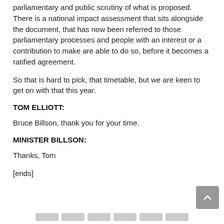parliamentary and public scrutiny of what is proposed. There is a national impact assessment that sits alongside the document, that has now been referred to those parliamentary processes and people with an interest or a contribution to make are able to do so, before it becomes a ratified agreement.
So that is hard to pick, that timetable, but we are keen to get on with that this year.
TOM ELLIOTT:
Bruce Billson, thank you for your time.
MINISTER BILLSON:
Thanks, Tom
[ends]